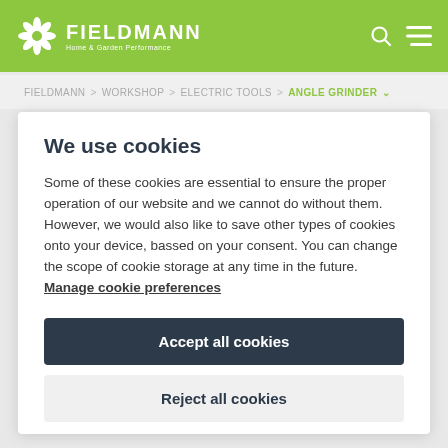FIELDMANN Home & Garden Performance
FIELDMANN > WORKSHOP > ELECTRIC TOOLS > ANGLE GRINDER
We use cookies
Some of these cookies are essential to ensure the proper operation of our website and we cannot do without them. However, we would also like to save other types of cookies onto your device, bassed on your consent. You can change the scope of cookie storage at any time in the future. Manage cookie preferences
Accept all cookies
Reject all cookies